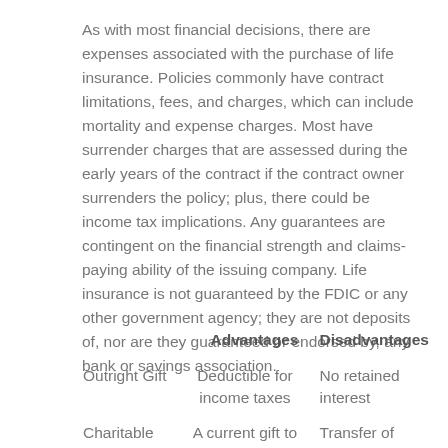As with most financial decisions, there are expenses associated with the purchase of life insurance. Policies commonly have contract limitations, fees, and charges, which can include mortality and expense charges. Most have surrender charges that are assessed during the early years of the contract if the contract owner surrenders the policy; plus, there could be income tax implications. Any guarantees are contingent on the financial strength and claims-paying ability of the issuing company. Life insurance is not guaranteed by the FDIC or any other government agency; they are not deposits of, nor are they guaranteed or endorsed by, any bank or savings association.
|  | Advantages | Disadvantages |
| --- | --- | --- |
| Outright Gift | Deductible for income taxes | No retained interest |
| Charitable | A current gift to | Transfer of assets is |